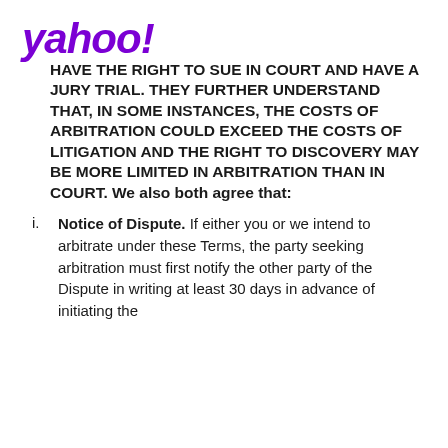yahoo!
HAVE THE RIGHT TO SUE IN COURT AND HAVE A JURY TRIAL. THEY FURTHER UNDERSTAND THAT, IN SOME INSTANCES, THE COSTS OF ARBITRATION COULD EXCEED THE COSTS OF LITIGATION AND THE RIGHT TO DISCOVERY MAY BE MORE LIMITED IN ARBITRATION THAN IN COURT. We also both agree that:
i. Notice of Dispute. If either you or we intend to arbitrate under these Terms, the party seeking arbitration must first notify the other party of the Dispute in writing at least 30 days in advance of initiating the